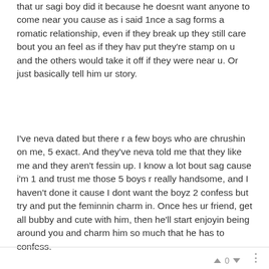that ur sagi boy did it because he doesnt want anyone to come near you cause as i said 1nce a sag forms a romatic relationship, even if they break up they still care bout you an feel as if they hav put they're stamp on u and the others would take it off if they were near u. Or just basically tell him ur story.
I've neva dated but there r a few boys who are chrushin on me, 5 exact. And they've neva told me that they like me and they aren't fessin up. I know a lot bout sag cause i'm 1 and trust me those 5 boys r really handsome, and I haven't done it cause I dont want the boyz 2 confess but try and put the feminnin charm in. Once hes ur friend, get all bubby and cute with him, then he'll start enjoyin being around you and charm him so much that he has to confess.